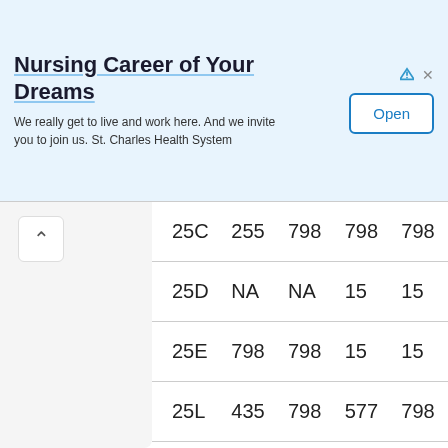[Figure (other): Advertisement banner for St. Charles Health System nursing careers with 'Open' button]
| 25C | 255 | 798 | 798 | 798 |
| 25D | NA | NA | 15 | 15 |
| 25E | 798 | 798 | 15 | 15 |
| 25L | 435 | 798 | 577 | 798 |
| 25M | 548 | 798 | 15 | 15 |
| 25N | 421 | 421 | 378 | 395 |